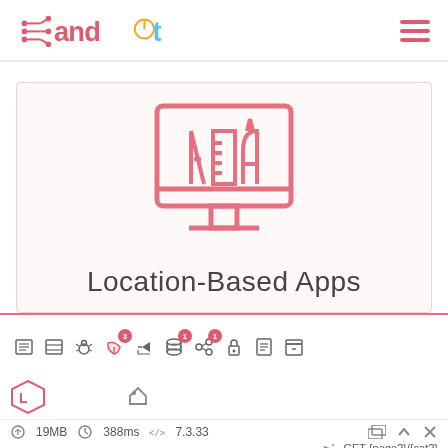[Figure (logo): and IT logo with circuit board graphic and colored text]
[Figure (illustration): Pink outline icon of a computer monitor with design tools (pencil, ruler, pen) inside, on a light pink background]
Location-Based Apps
[Figure (screenshot): Toolbar with various icons including list, grid, bug, leaf (with badge 3), share, database (with badge 1), links (with badge 1), lock, list, and grid icons; below: tag icon; Laravel logo bottom left; footer showing 19MB, 388ms, 7.3.33, file/folder icons, up arrow, X; GET {page?}/{cat?} text]